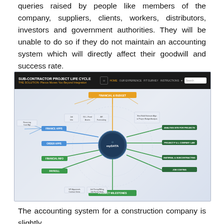queries raised by people like members of the company, suppliers, clients, workers, distributors, investors and government authorities. They will be unable to do so if they do not maintain an accounting system which will directly affect their goodwill and success rate.
[Figure (infographic): Sub-Contractor Project Life Cycle mind-map diagram centered on 'myDATA' node, with branches showing financial apps, order apps, financial info, payroll areas, and various project management modules. Header reads 'SUB-CONTRACTOR PROJECT LIFE CYCLE - THE SOLUTION: Plexus Moves You Beyond Integration'.]
The accounting system for a construction company is slightly